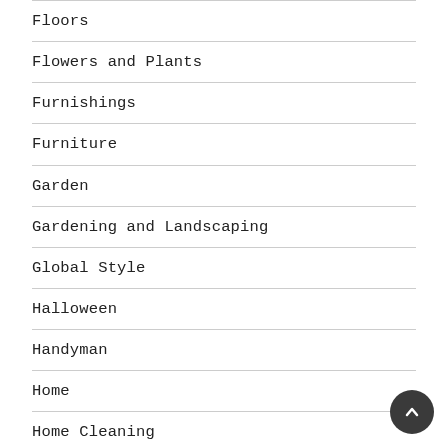Floors
Flowers and Plants
Furnishings
Furniture
Garden
Gardening and Landscaping
Global Style
Halloween
Handyman
Home
Home Cleaning